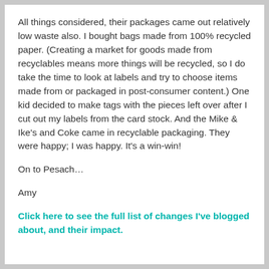All things considered, their packages came out relatively low waste also. I bought bags made from 100% recycled paper. (Creating a market for goods made from recyclables means more things will be recycled, so I do take the time to look at labels and try to choose items made from or packaged in post-consumer content.) One kid decided to make tags with the pieces left over after I cut out my labels from the card stock. And the Mike & Ike's and Coke came in recyclable packaging. They were happy; I was happy. It's a win-win!
On to Pesach…
Amy
Click here to see the full list of changes I've blogged about, and their impact.